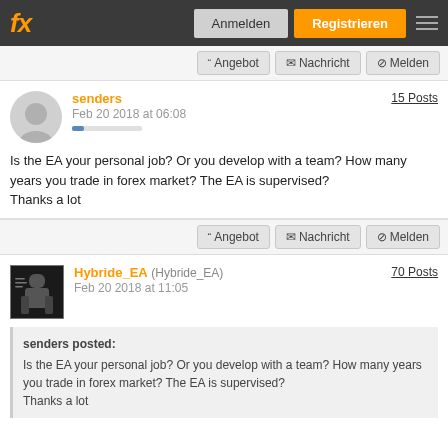fx | Anmelden | Registrieren
❝ Angebot  ✉ Nachricht  ⊘ Melden
senders
Feb 20 2018 at 06:08
15 Posts
Is the EA your personal job? Or you develop with a team? How many years you trade in forex market? The EA is supervised?
Thanks a lot
❝ Angebot  ✉ Nachricht  ⊘ Melden
Hybride_EA (Hybride_EA)
Feb 20 2018 at 11:05
70 Posts
senders posted:
Is the EA your personal job? Or you develop with a team? How many years you trade in forex market? The EA is supervised?
Thanks a lot